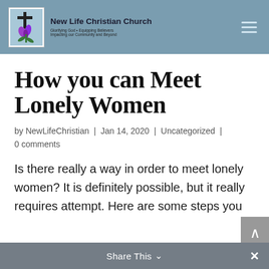New Life Christian Church
How you can Meet Lonely Women
by NewLifeChristian | Jan 14, 2020 | Uncategorized |
0 comments
Is there really a way in order to meet lonely women? It is definitely possible, but it really requires attempt. Here are some steps you